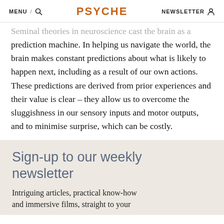MENU / [search icon] PSYCHE NEWSLETTER [person icon]
Seminal theories in neuroscience cast the brain as a prediction machine. In helping us navigate the world, the brain makes constant predictions about what is likely to happen next, including as a result of our own actions. These predictions are derived from prior experiences and their value is clear – they allow us to overcome the sluggishness in our sensory inputs and motor outputs, and to minimise surprise, which can be costly.
Sign-up to our weekly newsletter
Intriguing articles, practical know-how and immersive films, straight to your